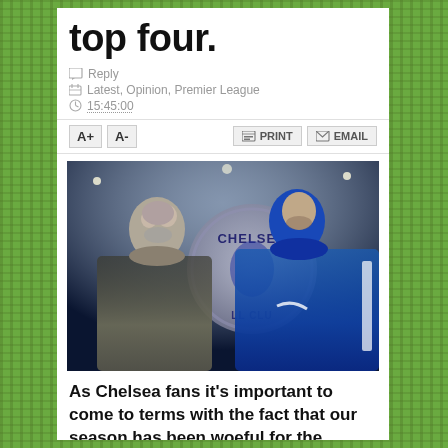top four.
Reply
Latest, Opinion, Premier League
15:45:00
A+  A-  PRINT  EMAIL
[Figure (photo): Two men in front of Chelsea FC badge; one wearing olive jacket (Roman Abramovich), one in blue Chelsea training jacket (Antonio Conte), stadium lights in background]
As Chelsea fans it's important to come to terms with the fact that our season has been woeful for the second time in three years